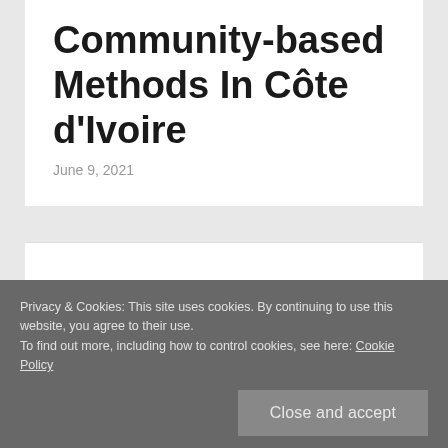Community-based Methods In Côte d'Ivoire
June 9, 2021
Privacy & Cookies: This site uses cookies. By continuing to use this website, you agree to their use.
To find out more, including how to control cookies, see here: Cookie Policy
Close and accept